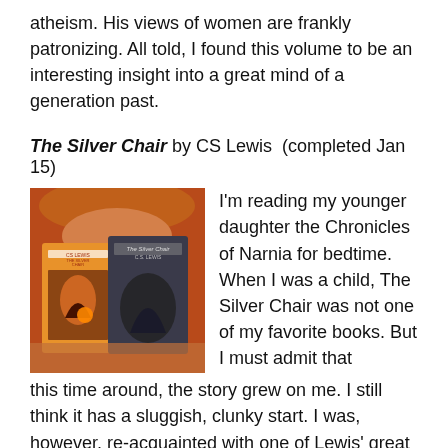atheism.  His views of women are frankly patronizing.  All told, I found this volume to be an interesting insight into a great mind of a generation past.
The Silver Chair by CS Lewis  (completed Jan 15)
[Figure (photo): A child holding up two copies of The Silver Chair by CS Lewis, face partially visible above the books, lit with warm orange-red light.]
I'm reading my younger daughter the Chronicles of Narnia for bedtime.  When I was a child, The Silver Chair was not one of my favorite books.  But I must admit that this time around, the story grew on me.  I still think it has a sluggish, clunky start.  I was, however, re-acquainted with one of Lewis' great heroes: the dour, yet steadfast, Puddleglum.  In the climactic scene, Puddleglum's courageous actions and thoughtful speech are a rich